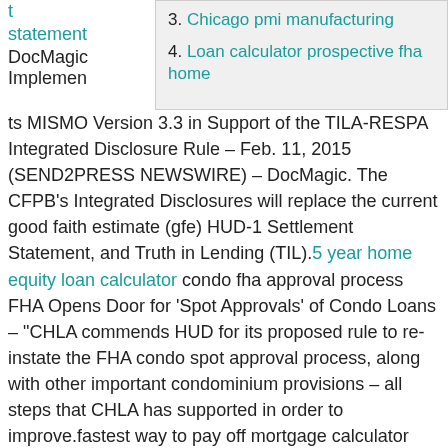t statement
3. Chicago pmi manufacturing
4. Loan calculator prospective fha home
DocMagic Implements MISMO Version 3.3 in Support of the TILA-RESPA Integrated Disclosure Rule – Feb. 11, 2015 (SEND2PRESS NEWSWIRE) – DocMagic. The CFPB's Integrated Disclosures will replace the current good faith estimate (gfe) HUD-1 Settlement Statement, and Truth in Lending (TIL).5 year home equity loan calculator condo fha approval process FHA Opens Door for 'Spot Approvals' of Condo Loans – "CHLA commends HUD for its proposed rule to re-instate the FHA condo spot approval process, along with other important condominium provisions – all steps that CHLA has supported in order to improve.fastest way to pay off mortgage calculator can you get a house loan with bad credit how to get a loan for rental property